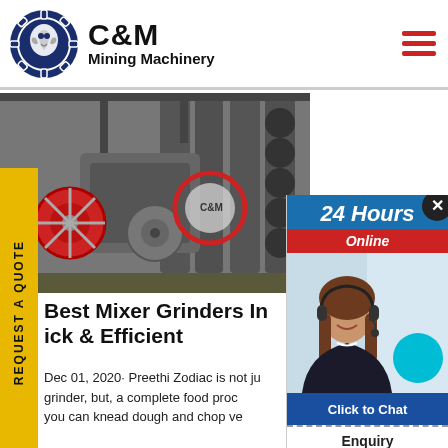[Figure (logo): C&M Mining Machinery logo with eagle gear icon]
[Figure (photo): Industrial mining machinery equipment in factory setting, black and white photo]
REQUEST A QUOTE (vertical sidebar tab)
Best Mixer Grinders In … ick & Efficient
Dec 01, 2020· Preethi Zodiac is not ju… grinder, but, a complete food proc… you can knead dough and chop ve…
[Figure (screenshot): 24 Hours Online customer service chat widget with female agent photo, Click to Chat button, and Enquiry section]